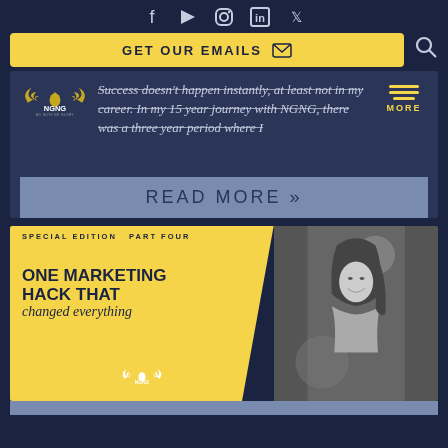Social media icons: Facebook, YouTube, Instagram, LinkedIn, Twitter
GET OUR EMAILS
[Figure (screenshot): NGNG (No Guts No Glory) logo with eagle wings and text]
Success doesn't happen instantly, at least not in my career. In my 15 year journey with NGNG, there was a three year period where I
READ MORE »
[Figure (infographic): NGNG Special Edition Part Four book/article cover with yellow background on left showing 'ONE MARKETING HACK THAT changed everything' title with NGNG logo, and black-and-white photo of smiling woman on right]